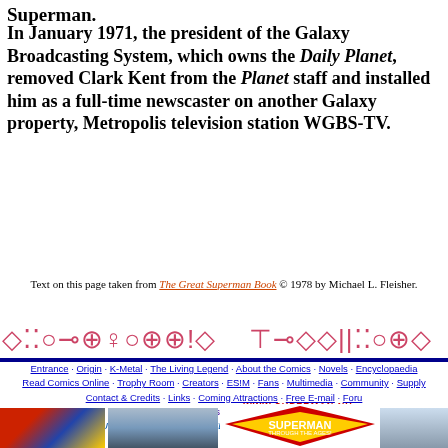Superman.
In January 1971, the president of the Galaxy Broadcasting System, which owns the Daily Planet, removed Clark Kent from the Planet staff and installed him as a full-time newscaster on another Galaxy property, Metropolis television station WGBS-TV.
Text on this page taken from The Great Superman Book © 1978 by Michael L. Fleisher.
[Figure (other): Kryptonian-style decorative script/symbols bar in pink/red color]
Entrance · Origin · K-Metal · The Living Legend · About the Comics · Novels · Encyclopaedia · Read Comics Online · Trophy Room · Creators · ES!M · Fans · Multimedia · Community · Supply · Contact & Credits · Links · Coming Attractions · Free E-mail · Foru · To bookmark this site, press Ctrl+D. · SUPERMAN CREATED BY JERRY SIEGEL AND JOE SHUS
[Figure (photo): Bottom row of images: Superman comic cover, Christopher Reeve movie photo, Superman Through the Ages logo with www.superman.nu, flying Superman figure]